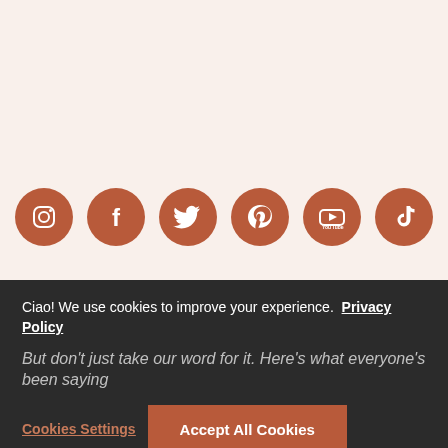[Figure (infographic): Six social media icons (Instagram, Facebook, Twitter, Pinterest, YouTube, TikTok) rendered as white icons on terracotta/rust-colored circular buttons arranged in a horizontal row.]
WE'RE THE UK'S MOST-LOVED FRESH PASTA
But don't just take our word for it. Here's what everyone's been saying
Ciao! We use cookies to improve your experience. Privacy Policy
Cookies Settings
Accept All Cookies